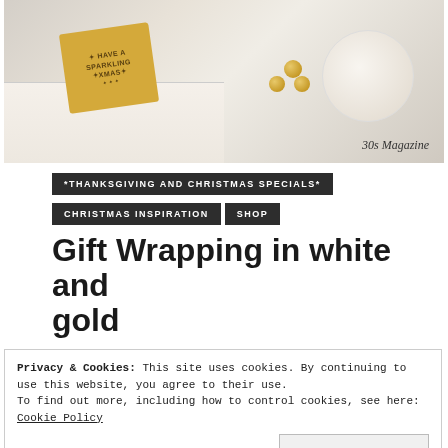[Figure (photo): Christmas gift wrapped in white with a gold/yellow tag reading 'Have a Sparkling Xmas' and gold rope, with gold pearl ornaments and a white lace ball in the background. Watermark: 30s Magazine]
*THANKSGIVING AND CHRISTMAS SPECIALS*
CHRISTMAS INSPIRATION   SHOP
Gift Wrapping in white and gold
Privacy & Cookies: This site uses cookies. By continuing to use this website, you agree to their use.
To find out more, including how to control cookies, see here: Cookie Policy
Close and accept